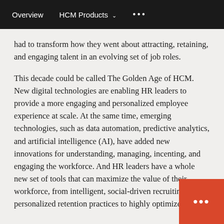Overview   HCM Products ▾   •••
had to transform how they went about attracting, retaining, and engaging talent in an evolving set of job roles.
This decade could be called The Golden Age of HCM. New digital technologies are enabling HR leaders to provide a more engaging and personalized employee experience at scale. At the same time, emerging technologies, such as data automation, predictive analytics, and artificial intelligence (AI), have added new innovations for understanding, managing, incenting, and engaging the workforce. And HR leaders have a whole new set of tools that can maximize the value of their workforce, from intelligent, social-driven recruiting and personalized retention practices to highly optimized
[Figure (other): Orange chat widget button with ellipsis icon in bottom-right corner]